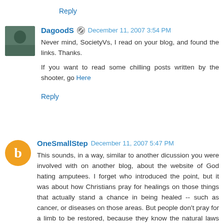Reply
DagoodS · December 11, 2007 3:54 PM
Never mind, SocietyVs, I read on your blog, and found the links. Thanks.

If you want to read some chilling posts written by the shooter, go Here

Reply
OneSmallStep December 11, 2007 5:47 PM
This sounds, in a way, similar to another dicussion you were involved with on another blog, about the website of God hating amputees. I forget who introduced the point, but it was about how Christians pray for healings on those things that actually stand a chance in being healed -- such as cancer, or diseases on those areas. But people don't pray for a limb to be restored, because they know the natural laws don't work that way. It's incredibly coincidental,